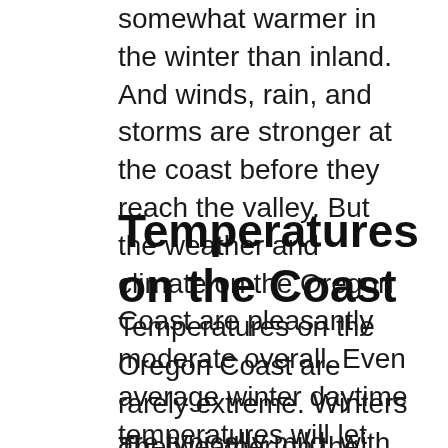somewhat warmer in the winter than inland. And winds, rain, and storms are stronger at the coast before they reach the valley. But the weather and climate on the Oregon Coast are pleasantly moderate overall. Even average winter daytime temperatures will let you get out and explore.
Temperatures on the Coast
Temperatures on the Oregon Coast are rarely extreme. Winters are typically mild, with daily temperatures in the 40s F. Summertime highs average in the 70s F.
The weather on the coast are associated by...